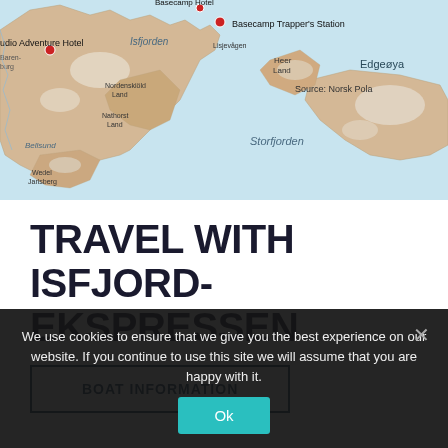[Figure (map): Map of Svalbard/Spitsbergen archipelago showing locations including Basecamp Trapper's Station,Udio Adventure Hotel, with Isfjorden, Storfjorden, Edgeøya and other geographic features labeled. Source: Norsk Pola...]
TRAVEL WITH ISFJORD-EKSPRESSEN
BOAT INFORMATION
We use cookies to ensure that we give you the best experience on our website. If you continue to use this site we will assume that you are happy with it.